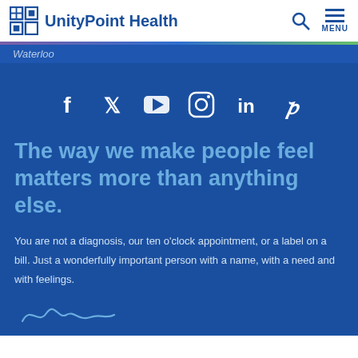UnityPoint Health
Waterloo
[Figure (infographic): Social media icons: Facebook, Twitter, YouTube, Instagram, LinkedIn, Pinterest — white icons on blue background]
The way we make people feel matters more than anything else.
You are not a diagnosis, our ten o'clock appointment, or a label on a bill. Just a wonderfully important person with a name, with a need and with feelings.
[Figure (illustration): Cursive signature in light blue at the bottom of the page]